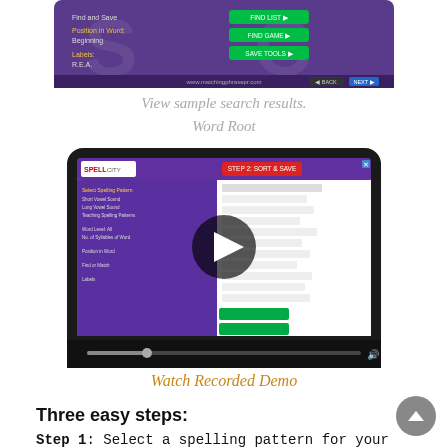[Figure (screenshot): Partial screenshot of a purple word search results interface showing spelling pattern results]
View sample search results.
Word Root
[Figure (screenshot): Video player showing a recorded demo of a word list maker application with a purple interface and a play button in the center]
Watch Recorded Demo
Three easy steps:
Step 1: Select a spelling pattern for your word search, for example, select the Short Vowel 'a' Sound. Exclude one or more spelling patterns from